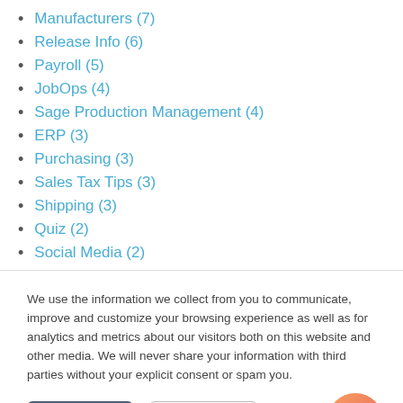Manufacturers (7)
Release Info (6)
Payroll (5)
JobOps (4)
Sage Production Management (4)
ERP (3)
Purchasing (3)
Sales Tax Tips (3)
Shipping (3)
Quiz (2)
Social Media (2)
We use the information we collect from you to communicate, improve and customize your browsing experience as well as for analytics and metrics about our visitors both on this website and other media. We will never share your information with third parties without your explicit consent or spam you.